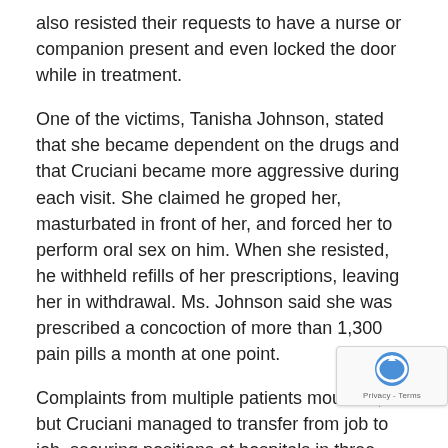also resisted their requests to have a nurse or companion present and even locked the door while in treatment.
One of the victims, Tanisha Johnson, stated that she became dependent on the drugs and that Cruciani became more aggressive during each visit. She claimed he groped her, masturbated in front of her, and forced her to perform oral sex on him. When she resisted, he withheld refills of her prescriptions, leaving her in withdrawal. Ms. Johnson said she was prescribed a concoction of more than 1,300 pain pills a month at one point.
Complaints from multiple patients mounted, but Cruciani managed to transfer from job to job, securing positions at hospitals in three states over the course of a decade. Johnson's husband stated in an interview that he called the patient advocate's office at Capital Health and described the assaults but never got a response.
A statement issued by Drexel University said that Mr.